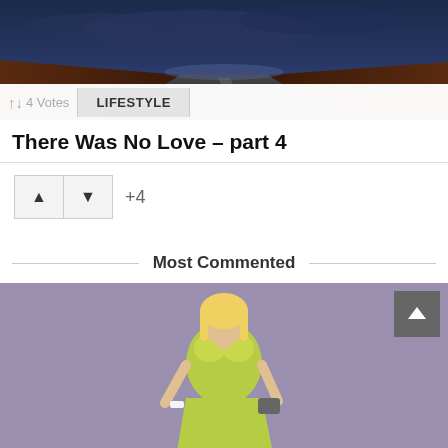[Figure (photo): Dark night road scene with dramatic sky, viewed from driver perspective]
↑↓ 4 Votes   LIFESTYLE
There Was No Love – part 4
+4
Most Commented
[Figure (illustration): 3D rendered female character in lime green dress on purple background]